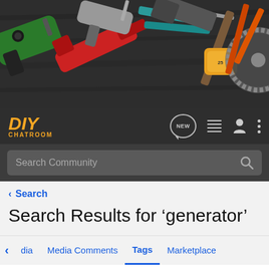[Figure (photo): Hero banner image of various tools including drills, hammers, wrenches, and other hardware tools laid out on a dark wooden surface]
DIY CHATROOM navigation bar with logo, NEW bubble, list icon, person icon, and dots menu
Search Community
< Search
Search Results for ‘generator’
< dia   Media Comments   Tags   Marketplace
Search Tags
× generator   Search